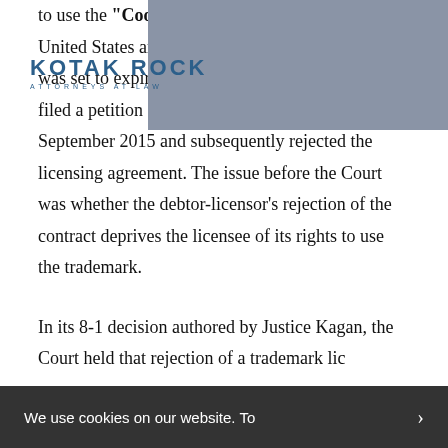[Figure (logo): Kotak Rock Attorneys at Law logo — bold uppercase letters in blue with small subtitle text, displayed over a gray decorative rectangle overlay in the upper right area of the page]
to use the "Coolcore" trademark, both in the United States and around the world. The agreement was set to expire in July 2016, but Tempnology filed a petition for Chapter 11 bankruptcy in September 2015 and subsequently rejected the licensing agreement. The issue before the Court was whether the debtor-licensor's rejection of the contract deprives the licensee of its rights to use the trademark.
In its 8-1 decision authored by Justice Kagan, the Court held that rejection of a trademark lic...
We use cookies on our website. To...